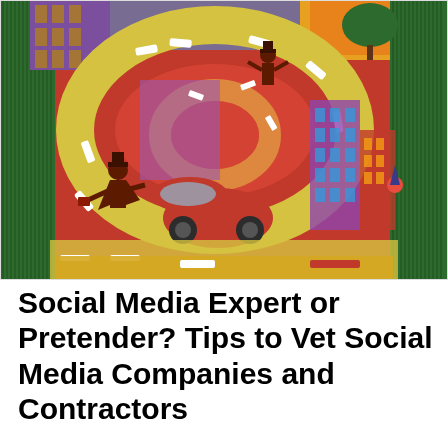[Figure (illustration): Colorful folk-art style painting featuring a large @ symbol as a road or path, with two figures walking along it, a red vintage car in the center, and stylized buildings in the background. The scene is vibrant with oranges, greens, yellows, reds, and purples.]
Social Media Expert or Pretender? Tips to Vet Social Media Companies and Contractors